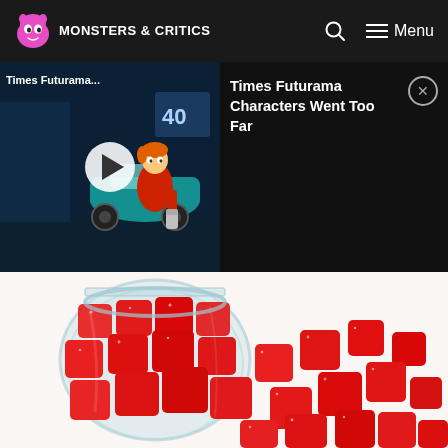Monsters & Critics
[Figure (screenshot): Video thumbnail showing Futurama animated characters, with play button overlay, titled 'Times Futurama...']
Times Futurama Characters Went Too Far
[Figure (photo): A glass jar tipped over spilling red sugar-coated gummy candy squares on a white surface]